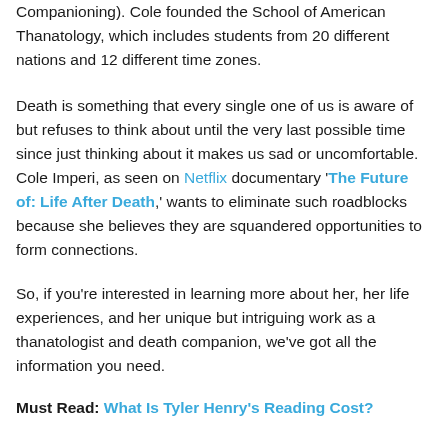Companioning). Cole founded the School of American Thanatology, which includes students from 20 different nations and 12 different time zones.
Death is something that every single one of us is aware of but refuses to think about until the very last possible time since just thinking about it makes us sad or uncomfortable. Cole Imperi, as seen on Netflix documentary 'The Future of: Life After Death,' wants to eliminate such roadblocks because she believes they are squandered opportunities to form connections.
So, if you're interested in learning more about her, her life experiences, and her unique but intriguing work as a thanatologist and death companion, we've got all the information you need.
Must Read: What Is Tyler Henry's Reading Cost?